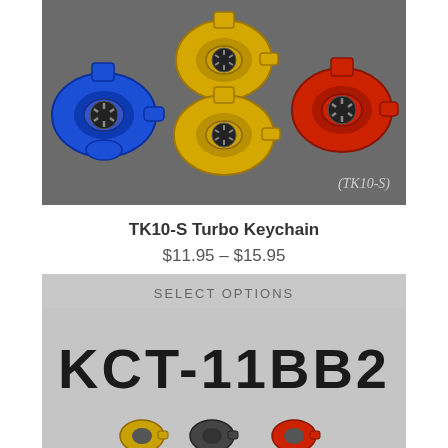[Figure (photo): Product photo of TK10-S Turbo Keychains in multiple colors (blue, gold, red) arranged on gray background with (TK10-S) label in bottom right]
TK10-S Turbo Keychain
$11.95 – $15.95
SELECT OPTIONS
[Figure (photo): Product photo showing KCT-11BB2 text label on gray background with colorful keychains (gold, dark, red) at bottom]